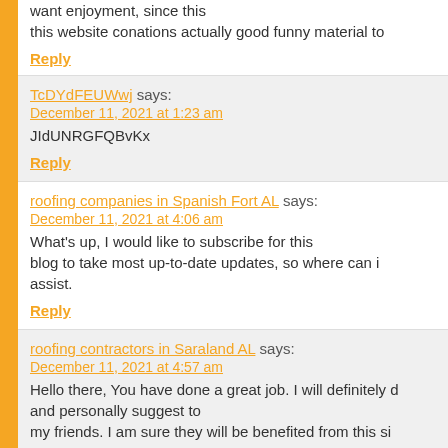Every weekend I used to pay a quick visit this web page… want enjoyment, since this this website conations actually good funny material to
Reply
TcDYdFEUWwj says:
December 11, 2021 at 1:23 am
JIdUNRGFQBvKx
Reply
roofing companies in Spanish Fort AL says:
December 11, 2021 at 4:06 am
What's up, I would like to subscribe for this blog to take most up-to-date updates, so where can i assist.
Reply
roofing contractors in Saraland AL says:
December 11, 2021 at 4:57 am
Hello there, You have done a great job. I will definitely d… and personally suggest to my friends. I am sure they will be benefited from this si